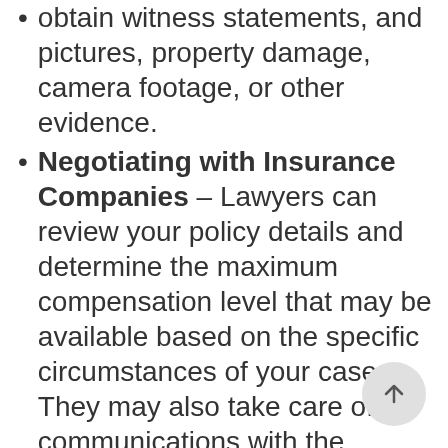obtain witness statements, and pictures, property damage, camera footage, or other evidence.
Negotiating with Insurance Companies – Lawyers can review your policy details and determine the maximum compensation level that may be available based on the specific circumstances of your case. They may also take care of all communications with the insurance company.
Sending Demand Letters – They may send a demand letter to an insurance company after a thorough investigation. A demand letter states the accident's facts and demands a certain amount of